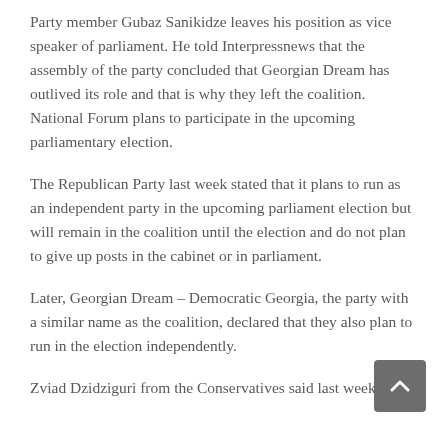Party member Gubaz Sanikidze leaves his position as vice speaker of parliament. He told Interpressnews that the assembly of the party concluded that Georgian Dream has outlived its role and that is why they left the coalition. National Forum plans to participate in the upcoming parliamentary election.
The Republican Party last week stated that it plans to run as an independent party in the upcoming parliament election but will remain in the coalition until the election and do not plan to give up posts in the cabinet or in parliament.
Later, Georgian Dream – Democratic Georgia, the party with a similar name as the coalition, declared that they also plan to run in the election independently.
Zviad Dzidziguri from the Conservatives said last week that they too will participate in elections separately it...